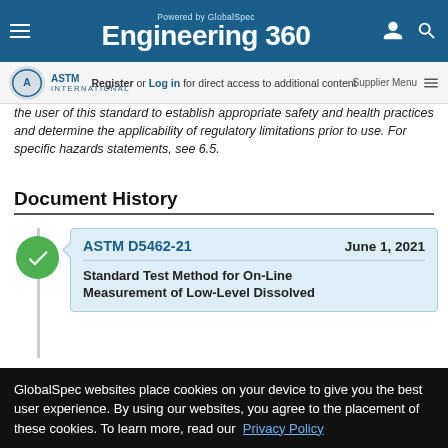Powered by GlobalSpec Engineering 360
Register or Log in for direct access to additional content | Supplier Menu
the user of this standard to establish appropriate safety and health practices and determine the applicability of regulatory limitations prior to use. For specific hazards statements, see 6.5.
Document History
ASTM D5462-21   June 1, 2021
Standard Test Method for On-Line Measurement of Low-Level Dissolved
GlobalSpec websites place cookies on your device to give you the best user experience. By using our websites, you agree to the placement of these cookies. To learn more, read our Privacy Policy